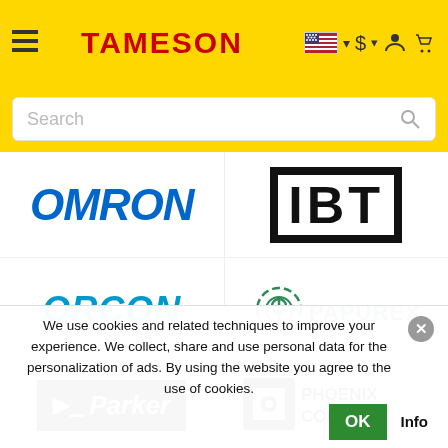TAMESON
[Figure (logo): OMRON logo in blue italic bold text]
[Figure (logo): IBT logo in black bold text with border]
[Figure (logo): ORCON logo in blue italic bold text]
[Figure (logo): PAPUREX logo with green circular icon and teal text]
[Figure (logo): Parker logo in white italic text on black background]
[Figure (logo): PHOENIX CONTACT logo with black square icon and bold text]
We use cookies and related techniques to improve your experience. We collect, share and use personal data for the personalization of ads. By using the website you agree to the use of cookies.